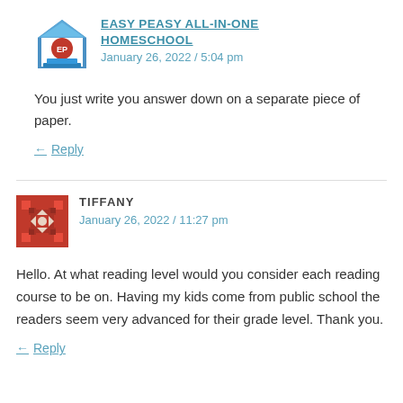[Figure (logo): Easy Peasy All-in-One Homeschool logo — a house shape with red and blue elements and laptop]
EASY PEASY ALL-IN-ONE HOMESCHOOL
January 26, 2022 / 5:04 pm
You just write you answer down on a separate piece of paper.
Reply
[Figure (illustration): Tiffany avatar — red and white decorative square pattern icon]
TIFFANY
January 26, 2022 / 11:27 pm
Hello. At what reading level would you consider each reading course to be on. Having my kids come from public school the readers seem very advanced for their grade level. Thank you.
Reply